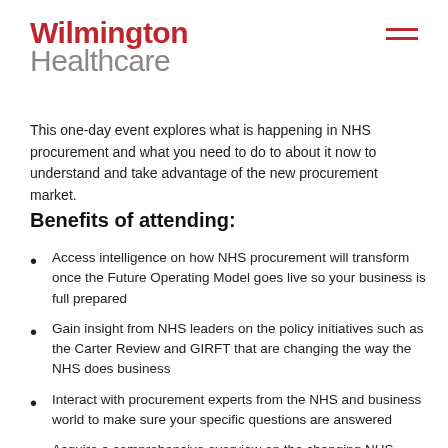[Figure (logo): Wilmington Healthcare logo with red 'Wilmington' text and grey 'Healthcare' text, plus a red hamburger menu icon top right]
This one-day event explores what is happening in NHS procurement and what you need to do to about it now to understand and take advantage of the new procurement market.
Benefits of attending:
Access intelligence on how NHS procurement will transform once the Future Operating Model goes live so your business is full prepared
Gain insight from NHS leaders on the policy initiatives such as the Carter Review and GIRFT that are changing the way the NHS does business
Interact with procurement experts from the NHS and business world to make sure your specific questions are answered
Acquire a comprehensive overview on the changing NHS